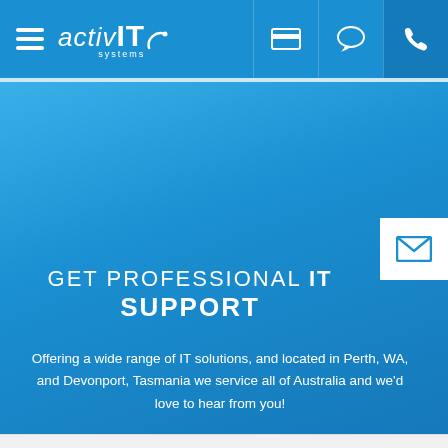[Figure (logo): activ IT systems logo with hamburger menu and navigation icons (credit card, chat bubble, phone)]
[Figure (other): Email envelope icon button on right side of hero]
GET PROFESSIONAL IT SUPPORT
Offering a wide range of IT solutions, and located in Perth, WA, and Devonport, Tasmania we service all of Australia and we'd love to hear from you!